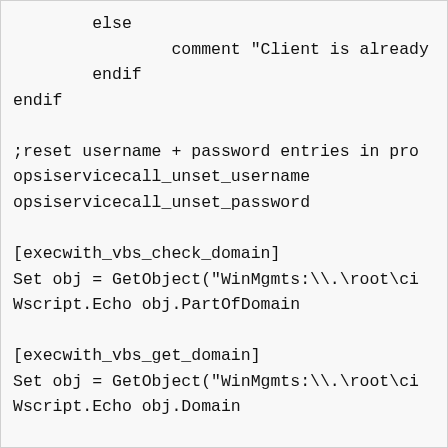else
                comment "Client is already
        endif
endif

;reset username + password entries in pro
opsiservicecall_unset_username
opsiservicecall_unset_password

[execwith_vbs_check_domain]
Set obj = GetObject("WinMgmts:\\.\root\ci
Wscript.Echo obj.PartOfDomain

[execwith_vbs_get_domain]
Set obj = GetObject("WinMgmts:\\.\root\ci
Wscript.Echo obj.Domain

[execwith_vbs_domain_join]
Set obj = GetObject("WinMgmts:\\.\root\ci
res = obj.JoinDomainOrWorkGroup("$Domain$